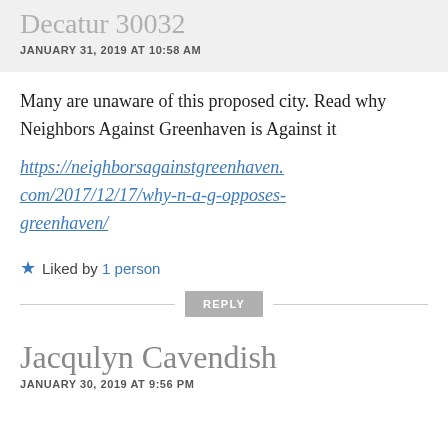Decatur 30032
JANUARY 31, 2019 AT 10:58 AM
Many are unaware of this proposed city. Read why Neighbors Against Greenhaven is Against it https://neighborsagainstgreenhaven.com/2017/12/17/why-n-a-g-opposes-greenhaven/
★ Liked by 1 person
REPLY
Jacqulyn Cavendish
JANUARY 30, 2019 AT 9:56 PM